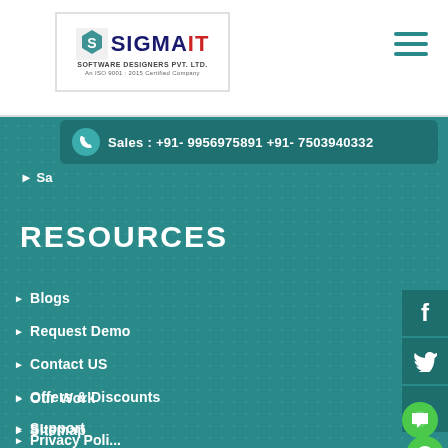SigmaIT Software Designers Pvt. Ltd. - An ISO 9001:2015 Certified Company
Sales : +91- 9956975891 +91- 7503940332
> Sa...
RESOURCES
▶ Blogs
▶ Request Demo
▶ Contact US
▶ Offers & Discounts
▶ Sitemap
▶ Our Work
▶ Support
▶ Careers
▶ Payment
▶ Shipping/Membership Policy
▶ Privacy Policy (partial/cut off)